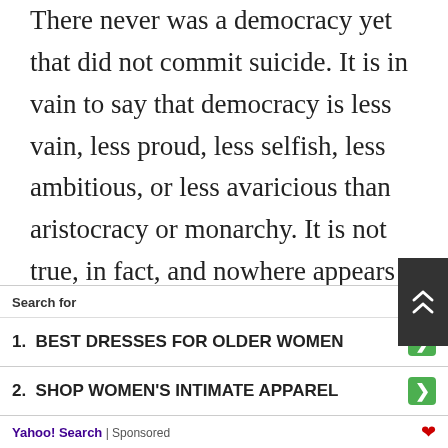There never was a democracy yet that did not commit suicide. It is in vain to say that democracy is less vain, less proud, less selfish, less ambitious, or less avaricious than aristocracy or monarchy. It is not true, in fact, and nowhere appears in history. Those passions are the same in all men, under all forms of simple government, and when unchecked, produce the same effects of fraud, violence, and cruelty. When clear prospects are opened before vanity, pride, avarice, or ambition, for their easy gratification, it is hard for the most considerate philosophers and the most conscientious moralists to resist the
Search for
1.  BEST DRESSES FOR OLDER WOMEN
2.  SHOP WOMEN'S INTIMATE APPAREL
Yahoo! Search | Sponsored